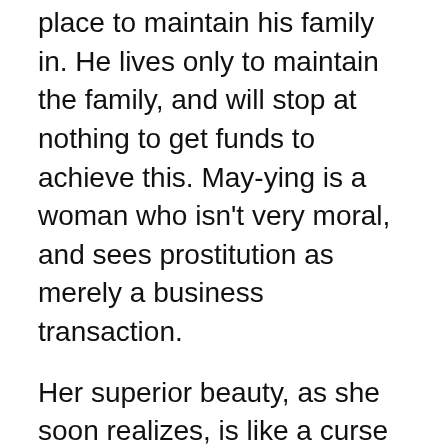place to maintain his family in. He lives only to maintain the family, and will stop at nothing to get funds to achieve this. May-ying is a woman who isn't very moral, and sees prostitution as merely a business transaction.
Her superior beauty, as she soon realizes, is like a curse on her. Winnie, her daughter, is looked down upon for being unattractive, especially when compared with her mother. While these insults hurt, Winnie sees excelling at school as her only ticket out of this horrible life of violence. The major contrast between May-ying and she is done to show how different parent and child can be, and how often the child can even be more mature than the adult. These characters all bring out the theme of the story, showing how as generations become more modern,